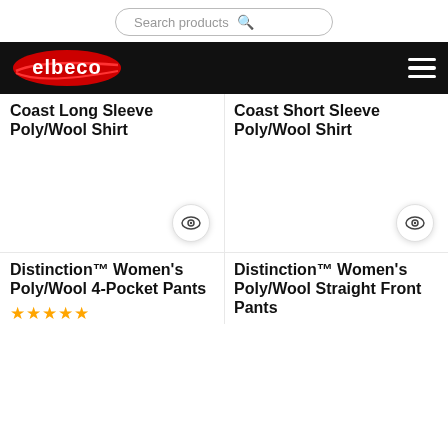Search products
[Figure (logo): Elbeco logo on black navigation bar with hamburger menu icon]
Coast Long Sleeve Poly/Wool Shirt
Coast Short Sleeve Poly/Wool Shirt
[Figure (photo): Product image area for Coast Long Sleeve Poly/Wool Shirt with eye/quick-view button]
[Figure (photo): Product image area for Coast Short Sleeve Poly/Wool Shirt with eye/quick-view button]
Distinction™ Women's Poly/Wool 4-Pocket Pants
Distinction™ Women's Poly/Wool Straight Front Pants
★★★★★